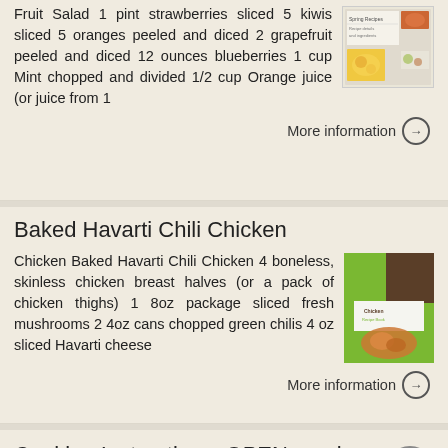Fruit Salad 1 pint strawberries sliced 5 kiwis sliced 5 oranges peeled and diced 2 grapefruit peeled and diced 12 ounces blueberries 1 cup Mint chopped and divided 1/2 cup Orange juice (or juice from 1
[Figure (photo): Recipe card thumbnail with food image]
More information →
Baked Havarti Chili Chicken
Chicken Baked Havarti Chili Chicken 4 boneless, skinless chicken breast halves (or a pack of chicken thighs) 1 8oz package sliced fresh mushrooms 2 4oz cans chopped green chilis 4 oz sliced Havarti cheese
[Figure (photo): Green cookbook cover with chicken image]
More information →
Cooking Instructions. OPEN meal prep_ June 2017 (recipes follow)